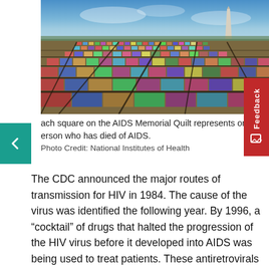[Figure (photo): Aerial view of the AIDS Memorial Quilt spread out on the National Mall in Washington D.C., with the Washington Monument visible in the background and a blue sky above.]
Each square on the AIDS Memorial Quilt represents one person who has died of AIDS.
Photo Credit: National Institutes of Health
The CDC announced the major routes of transmission for HIV in 1984. The cause of the virus was identified the following year. By 1996, a “cocktail” of drugs that halted the progression of the HIV virus before it developed into AIDS was being used to treat patients. These antiretrovirals prolong life, but they are not a cure. To date, AIDS has taken more than 30 million lives worldwide. As AGT begins its trial for a cure for